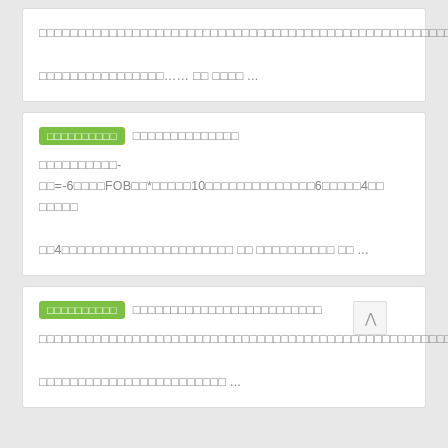□□□□□□□□□□□□□□□□□□□□□□□□□□□□□□□□□□□□□□□□□□□□□□□□□□□□□□□□□□□□□□□□□□□□□□□□□□□□□□□□□□□□□□□□□□□□□□□□□□□□□□□□□□□□□□□□□□□□□□□□□□□□□□□□□□□□□□□□…… □□ □□□□ ...
□□□□□□□□□□-□□=-6□□□□FOB□□*□□□□□10□□□□□□□□□□□□□□6□□□□□4□□ □□□□□□□4□□□□□□□□□□□□□□□□□□□□□ □□ □□□□□□□□□□ □□ ...
□□□□□□□□□□□□□□□□□□□□□□□□□□□□□□□□□□□□□□□□□□□□□□□□□□□□□□□□□□□□□□□□□□□□□□□□□□□□□□□□□□□□□□□□□□□□□□□□□□□□□□□□□□□□□□□□□□□□□□□□□□□□□□□□□□□□□□□□□□□□ ...